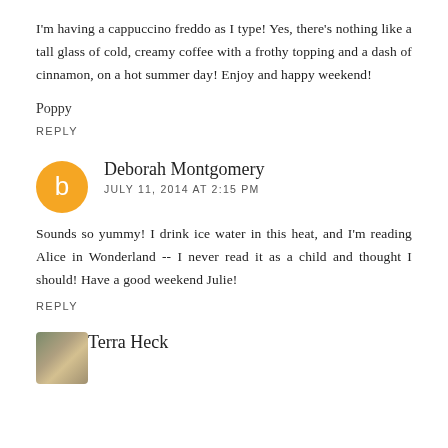I'm having a cappuccino freddo as I type! Yes, there's nothing like a tall glass of cold, creamy coffee with a frothy topping and a dash of cinnamon, on a hot summer day! Enjoy and happy weekend!
Poppy
REPLY
Deborah Montgomery
JULY 11, 2014 AT 2:15 PM
Sounds so yummy! I drink ice water in this heat, and I'm reading Alice in Wonderland -- I never read it as a child and thought I should! Have a good weekend Julie!
REPLY
Terra Heck